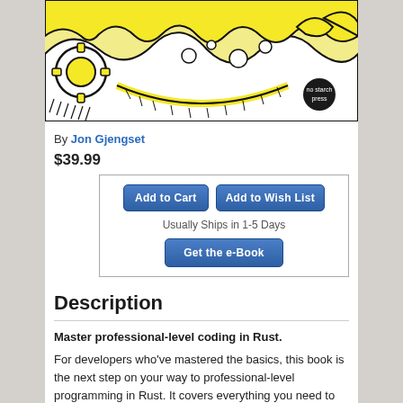[Figure (illustration): Top portion of a book cover with yellow and black illustrated design featuring gears and abstract shapes, with a No Starch Press logo in the bottom right corner]
By Jon Gjengset
$39.99
Add to Cart | Add to Wish List | Usually Ships in 1-5 Days | Get the e-Book
Description
Master professional-level coding in Rust.
For developers who've mastered the basics, this book is the next step on your way to professional-level programming in Rust. It covers everything you need to build and maintain larger code bases, write powerful and flexible applications and libraries, and